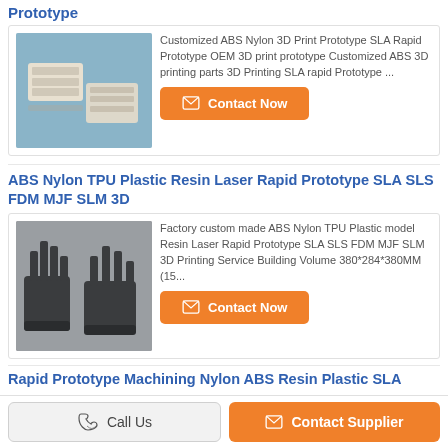Prototype
Customized ABS Nylon 3D Print Prototype SLA Rapid Prototype OEM 3D print prototype Customized ABS 3D printing parts 3D Printing SLA rapid Prototype ...
[Figure (photo): Photo of white/cream colored 3D printed plastic prototype parts on a blue background]
ABS Nylon TPU Plastic Resin Laser Rapid Prototype SLA SLS FDM MJF SLM 3D
[Figure (photo): Photo of black 3D printed cylindrical/tower-shaped plastic prototype parts]
Factory custom made ABS Nylon TPU Plastic model Resin Laser Rapid Prototype SLA SLS FDM MJF SLM 3D Printing Service Building Volume 380*284*380MM (15...
Rapid Prototype Machining Nylon ABS Resin Plastic SLA
Call Us   Contact Supplier